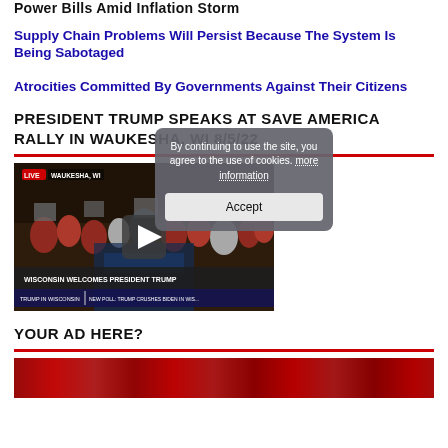Power Bills Amid Inflation Storm
Supply Chain Problems Will Persist Because The System Is Being Sabotaged
Atrocities Committed By Governments Against Their Citizens
PRESIDENT TRUMP SPEAKS AT SAVE AMERICA RALLY IN WAUKESHA, WI 8/5/22
[Figure (screenshot): Video thumbnail showing President Trump at Save America Rally in Waukesha, Wisconsin. LIVE badge top left, play button in center, caption 'WISCONSIN WELCOMES PRESIDENT TRUMP' at bottom. A cookie consent overlay reads 'By continuing to use the site, you agree to the use of cookies. more information' with an Accept button.]
YOUR AD HERE?
[Figure (photo): Partial photo at bottom of page showing red background, likely another rally or event image]